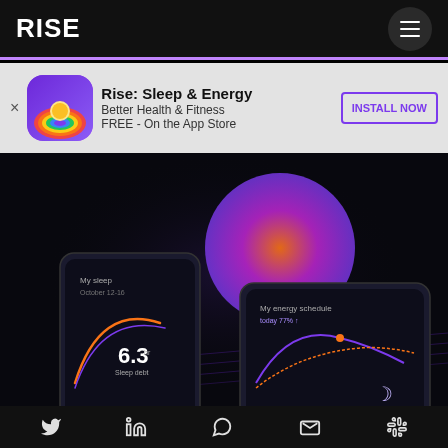RISE
[Figure (screenshot): App advertisement banner showing Rise: Sleep & Energy app icon with rainbow sun graphic, text 'Rise: Sleep & Energy', 'Better Health & Fitness', 'FREE - On the App Store', and 'INSTALL NOW' button]
[Figure (screenshot): Hero image showing two dark smartphones displaying the Rise app interfaces - one showing 'My sleep, October 12-16' with '6.3 Sleep debt' and another showing 'My energy schedule' with energy curve. A purple-to-orange gradient circle decoration in the center background.]
Twitter | LinkedIn | WhatsApp | Gmail | Slack